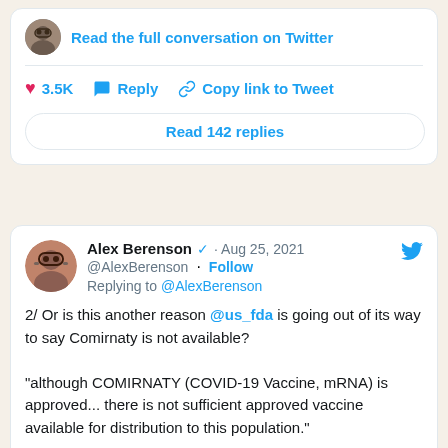Read the full conversation on Twitter
3.5K   Reply   Copy link to Tweet
Read 142 replies
Alex Berenson · Aug 25, 2021
@AlexBerenson · Follow
Replying to @AlexBerenson

2/ Or is this another reason @us_fda is going out of its way to say Comirnaty is not available?

"although COMIRNATY (COVID-19 Vaccine, mRNA) is approved... there is not sufficient approved vaccine available for distribution to this population."